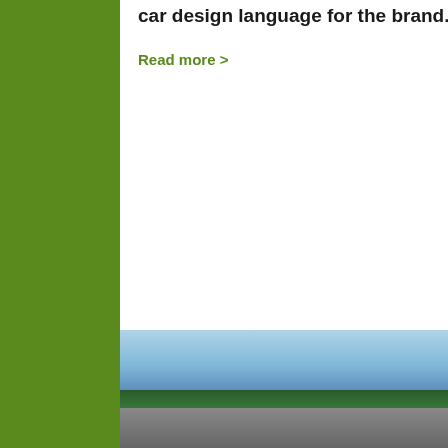car design language for the brand.
Read more >
[Figure (photo): A car on a road/racetrack, photographed from the side, with a treeline and sky in the background. The image is partially cropped at the bottom of the page.]